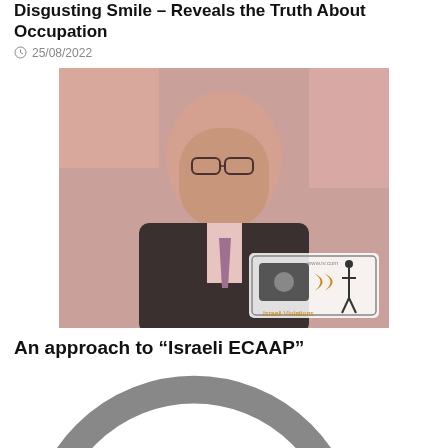Disgusting Smile – Reveals the Truth About Occupation
25/08/2022
[Figure (photo): Portrait photo of a man wearing glasses and a suit with a pink tie, at what appears to be an event. A watermark logo reading 'Israeli Violations' is overlaid on the bottom right.]
An approach to “Israeli ECAAP”
21/08/2022
[Figure (photo): Photo of a white pickup truck with equipment on top and a satellite dish open, in a desert landscape. A person stands near the dish. A logo for B'Tselem is visible in the top left corner.]